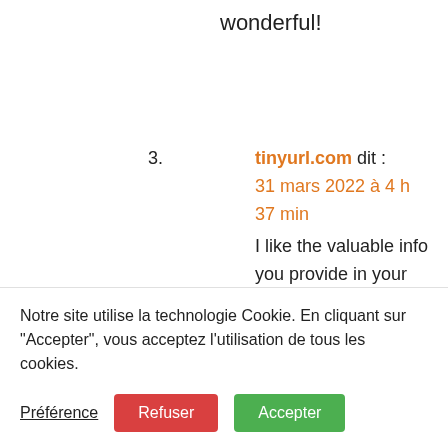wonderful!
3. tinyurl.com dit : 31 mars 2022 à 4 h 37 min
I like the valuable info you provide in your articles.
Notre site utilise la technologie Cookie. En cliquant sur "Accepter", vous acceptez l'utilisation de tous les cookies.
Préférence  Refuser  Accepter